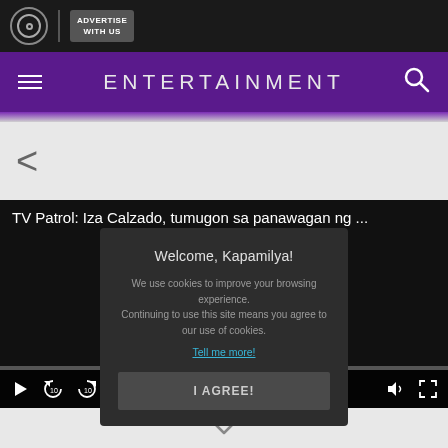[Figure (screenshot): ABS-CBN logo circle icon in top navigation bar]
ADVERTISE WITH US
ENTERTAINMENT
<
TV Patrol: Iza Calzado, tumugon sa panawagan ng ...
Welcome, Kapamilya!
We use cookies to improve your browsing experience. Continuing to use this site means you agree to our use of cookies.
Tell me more!
I AGREE!
0:00/0:00